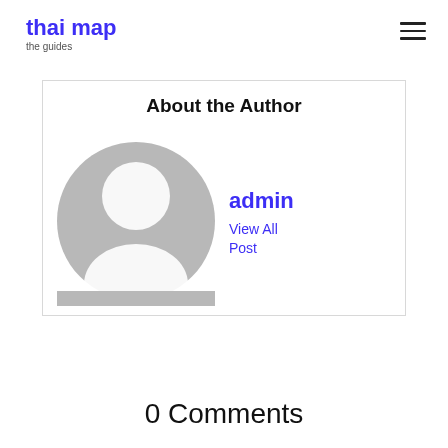thai map
the guides
About the Author
[Figure (illustration): Grey placeholder avatar icon showing a person silhouette with circular head and rounded shoulders on a grey circle background]
admin
View All Post
0 Comments